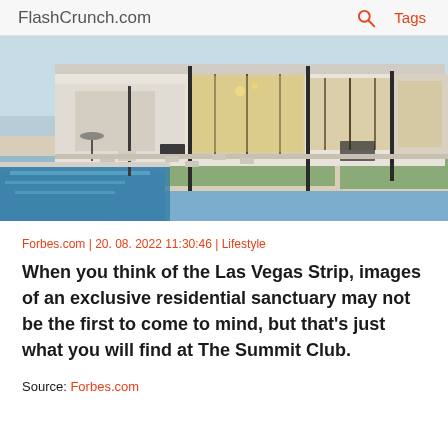FlashCrunch.com | 🔍 | Tags
[Figure (photo): Exterior of a modern luxury home with a pool, outdoor dining area, and large glass windows/doors illuminated at dusk or evening. White stucco facade, green lawn, and a long rectangular pool in the foreground.]
Forbes.com | 20. 08. 2022 11:30:46 | Lifestyle
When you think of the Las Vegas Strip, images of an exclusive residential sanctuary may not be the first to come to mind, but that's just what you will find at The Summit Club.
Source: Forbes.com